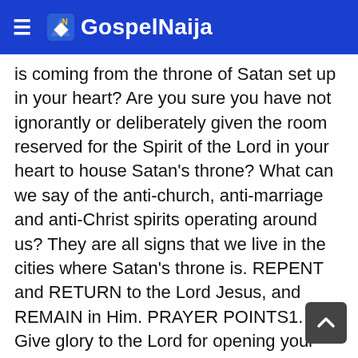GospelNaija
is coming from the throne of Satan set up in your heart? Are you sure you have not ignorantly or deliberately given the room reserved for the Spirit of the Lord in your heart to house Satan's throne? What can we say of the anti-church, anti-marriage and anti-Christ spirits operating around us? They are all signs that we live in the cities where Satan's throne is. REPENT and RETURN to the Lord Jesus, and REMAIN in Him. PRAYER POINTS1. Give glory to the Lord for opening your eyes to see where Satan' throne is set up around you.2. Decree the overthrow of every satanic throne in your household and neighbourhood.3. Take authority against every spirit that sets itself up against the knowledge of God in our nation and world. After all, it is not yet time for the anti Christ. EXTRA READING FOR